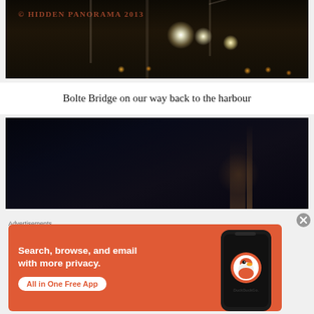[Figure (photo): Night photograph of Bolte Bridge with construction cranes and bright lights visible. Watermark reads '© HIDDEN PANORAMA 2013']
Bolte Bridge on our way back to the harbour
[Figure (photo): Dark night photograph showing a tall illuminated tower or building structure against a very dark sky]
Advertisements
[Figure (screenshot): DuckDuckGo advertisement banner. Text: 'Search, browse, and email with more privacy. All in One Free App'. Shows DuckDuckGo logo on a phone mockup on orange background.]